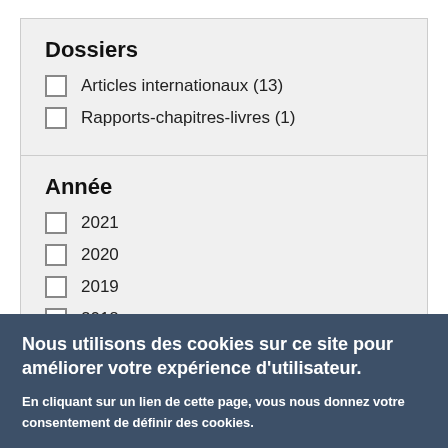Dossiers
Articles internationaux (13)
Rapports-chapitres-livres (1)
Année
2021
2020
2019
2018
2017
Nous utilisons des cookies sur ce site pour améliorer votre expérience d'utilisateur.
En cliquant sur un lien de cette page, vous nous donnez votre consentement de définir des cookies.